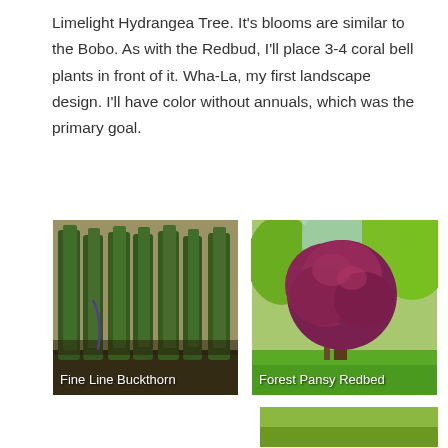Limelight Hydrangea Tree. It's blooms are similar to the Bobo. As with the Redbud, I'll place 3-4 coral bell plants in front of it. Wha-La, my first landscape design. I'll have color without annuals, which was the primary goal.
[Figure (photo): Photo of Fine Line Buckthorn trees in a nursery row, tall narrow green shrubs/trees in a field setting, with caption 'Fine Line Buckthorn' in white text at bottom left.]
[Figure (photo): Photo of Forest Pansy Redbud tree with deep red/purple foliage in a green park setting, with caption 'Forest Pansy Redbed' in white text at bottom left.]
[Figure (photo): Partial photo visible at the bottom right of the page, cropped.]